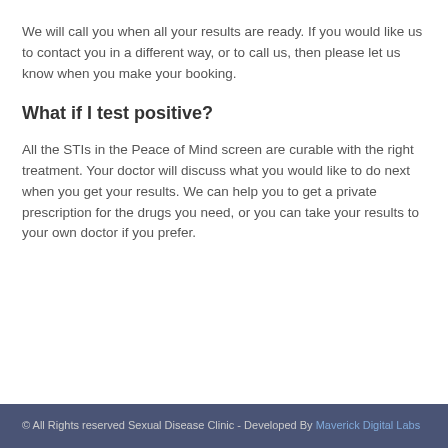We will call you when all your results are ready. If you would like us to contact you in a different way, or to call us, then please let us know when you make your booking.
What if I test positive?
All the STIs in the Peace of Mind screen are curable with the right treatment. Your doctor will discuss what you would like to do next when you get your results. We can help you to get a private prescription for the drugs you need, or you can take your results to your own doctor if you prefer.
© All Rights reserved Sexual Disease Clinic - Developed By Maverick Digital Labs